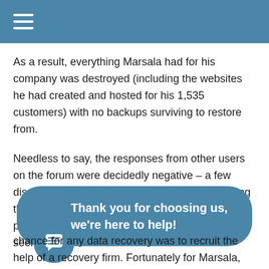As a result, everything Marsala had for his company was destroyed (including the websites he had created and hosted for his 1,535 customers) with no backups surviving to restore from.
Needless to say, the responses from other users on the forum were decidedly negative – a few dismissed the possibility of his company surviving the error, and others questioned his abilities as a programmer. One poster recommended Marsala seek legal counsel rather than
Thank you for choosing us, we're here to help!
chance for any data recovery was to recruit the help of a recovery firm. Fortunately for Marsala, such a data recovery company was able to recover his files and his biggest hit was financial–both from the recovery